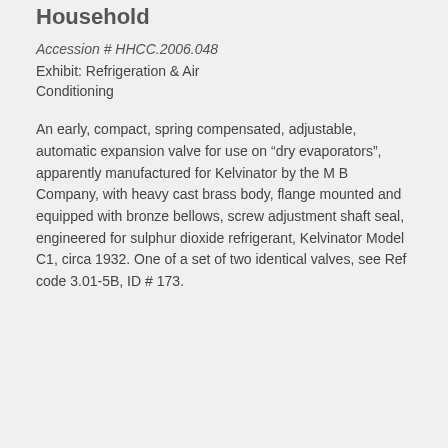Household
Accession # HHCC.2006.048
Exhibit: Refrigeration & Air Conditioning
An early, compact, spring compensated, adjustable, automatic expansion valve for use on “dry evaporators”, apparently manufactured for Kelvinator by the M B Company, with heavy cast brass body, flange mounted and equipped with bronze bellows, screw adjustment shaft seal, engineered for sulphur dioxide refrigerant, Kelvinator Model C1, circa 1932. One of a set of two identical valves, see Ref code 3.01-5B, ID # 173.